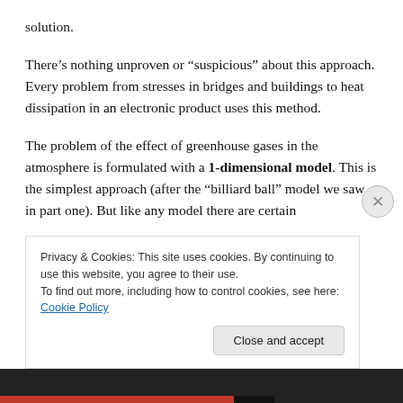solution.
There's nothing unproven or “suspicious” about this approach. Every problem from stresses in bridges and buildings to heat dissipation in an electronic product uses this method.
The problem of the effect of greenhouse gases in the atmosphere is formulated with a 1-dimensional model. This is the simplest approach (after the “billiard ball” model we saw in part one). But like any model there are certain assumptions that have to be made—the boundary
Privacy & Cookies: This site uses cookies. By continuing to use this website, you agree to their use.
To find out more, including how to control cookies, see here: Cookie Policy